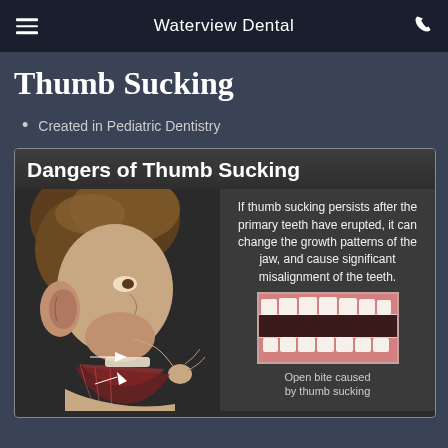Waterview Dental
Thumb Sucking
Created in Pediatric Dentistry
[Figure (infographic): Infographic titled 'Dangers of Thumb Sucking' showing a medical illustration of a child in profile sucking their thumb, with anatomical cross-section of the jaw showing arrows indicating pressure. Right side shows descriptive text about jaw growth pattern changes and teeth misalignment, plus a photo of open bite teeth with caption 'Open bite caused by thumb sucking'.]